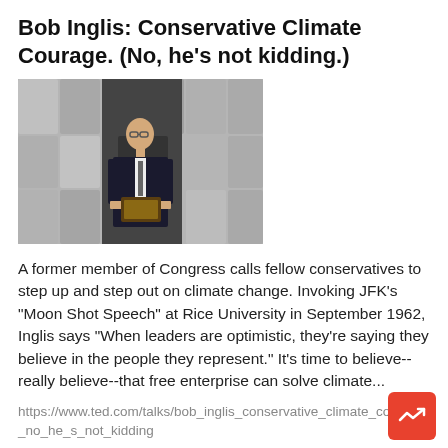Bob Inglis: Conservative Climate Courage. (No, he's not kidding.)
[Figure (photo): A man in a dark suit standing on stage holding a plaque, in front of a geometric foam backdrop]
A former member of Congress calls fellow conservatives to step up and step out on climate change. Invoking JFK's "Moon Shot Speech" at Rice University in September 1962, Inglis says "When leaders are optimistic, they're saying they believe in the people they represent." It's time to believe--really believe--that free enterprise can solve climate...
https://www.ted.com/talks/bob_inglis_conservative_climate_courage_no_he_s_not_kidding
Magia Inclusiva: Magia Inclusiva
[Figure (photo): A smiling person in a red and white jersey in what appears to be a sports/gym setting]